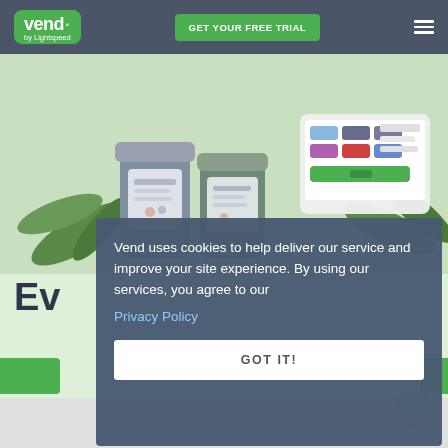[Figure (screenshot): Vend by Lightspeed website header with logo, GET YOUR FREE TRIAL button, and hamburger menu on dark slate background]
[Figure (photo): Hero image showing product jars with labels and a tablet/POS interface on a light green background]
Ev
Vend uses cookies to help deliver our service and improve your site experience. By using our services, you agree to our Privacy Policy
GOT IT!